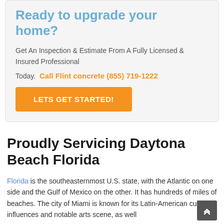Ready to upgrade your home?
Get An Inspection & Estimate From A Fully Licensed & Insured Professional
Today. Call Flint concrete (855) 719-1222
LETS GET STARTED!
Proudly Servicing Daytona Beach Florida
Florida is the southeasternmost U.S. state, with the Atlantic on one side and the Gulf of Mexico on the other. It has hundreds of miles of beaches. The city of Miami is known for its Latin-American cultural influences and notable arts scene, as well